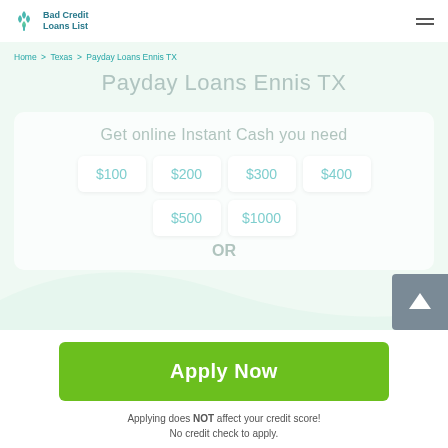Bad Credit Loans List
Home > Texas > Payday Loans Ennis TX
Payday Loans Ennis TX
Get online Instant Cash you need
$100
$200
$300
$400
$500
$1000
OR
Apply Now
Applying does NOT affect your credit score! No credit check to apply.